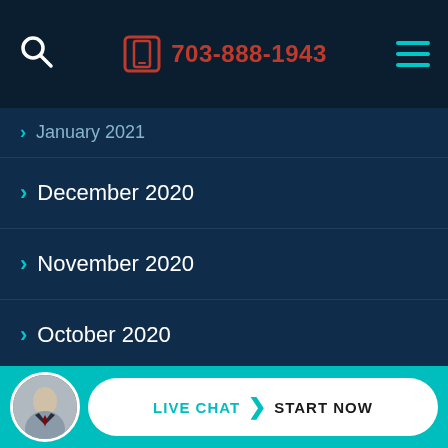703-888-1943
January 2021
December 2020
November 2020
October 2020
September 2020
August 2020
LIVE CHAT START NOW